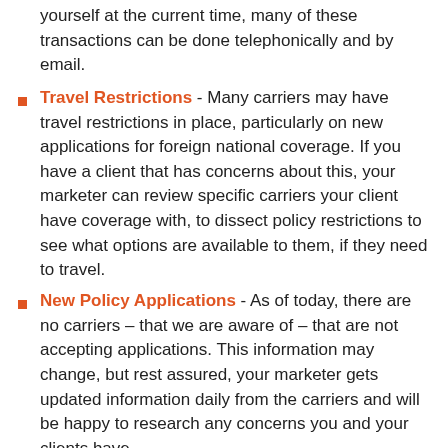yourself at the current time, many of these transactions can be done telephonically and by email.
Travel Restrictions - Many carriers may have travel restrictions in place, particularly on new applications for foreign national coverage. If you have a client that has concerns about this, your marketer can review specific carriers your client have coverage with, to dissect policy restrictions to see what options are available to them, if they need to travel.
New Policy Applications - As of today, there are no carriers – that we are aware of – that are not accepting applications. This information may change, but rest assured, your marketer gets updated information daily from the carriers and will be happy to research any concerns you and your clients have.
Positive COVID -19 Tests - Let us help you navigate how the carriers are evaluating and handling new, prospective clients who test positive for COVID-19 and any effects this may have on getting or keeping their